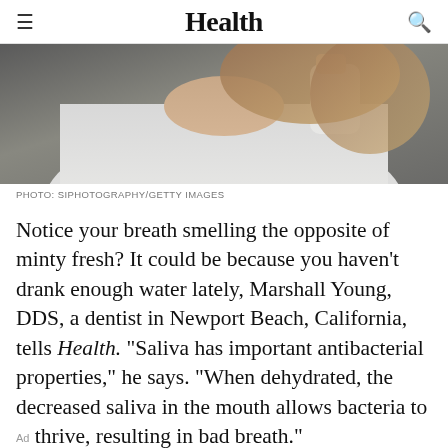Health
[Figure (photo): Partial view of a woman in a white shirt, photographed from below the face down to the torso, against a dark background.]
PHOTO: SIPHOTOGRAPHY/GETTY IMAGES
Notice your breath smelling the opposite of minty fresh? It could be because you haven't drank enough water lately, Marshall Young, DDS, a dentist in Newport Beach, California, tells Health. "Saliva has important antibacterial properties," he says. "When dehydrated, the decreased saliva in the mouth allows bacteria to thrive, resulting in bad breath."